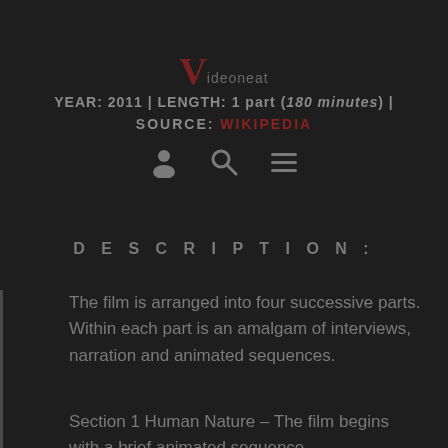Videoneat YEAR: 2011 | LENGTH: 1 part (180 minutes) | SOURCE: WIKIPEDIA
DESCRIPTION:
The film is arranged into four successive parts. Within each part is an amalgam of interviews, narration and animated sequences.
Section 1 Human Nature – The film begins with a brief animated sequence